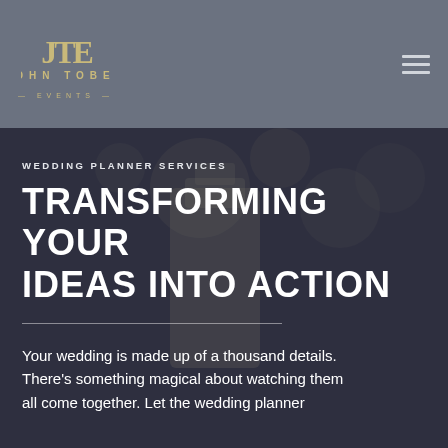[Figure (logo): John Tobey Events logo with JTE monogram in gold/champagne color on gray background]
WEDDING PLANNER SERVICES
TRANSFORMING YOUR IDEAS INTO ACTION
Your wedding is made up of a thousand details. There's something magical about watching them all come together. Let the wedding planner